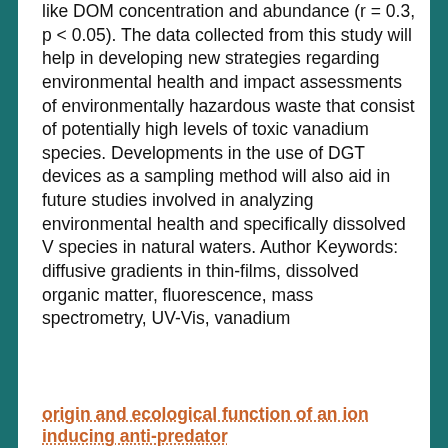like DOM concentration and abundance (r = 0.3, p < 0.05). The data collected from this study will help in developing new strategies regarding environmental health and impact assessments of environmentally hazardous waste that consist of potentially high levels of toxic vanadium species. Developments in the use of DGT devices as a sampling method will also aid in future studies involved in analyzing environmental health and specifically dissolved V species in natural waters. Author Keywords: diffusive gradients in thin-films, dissolved organic matter, fluorescence, mass spectrometry, UV-Vis, vanadium
origin and ecological function of an ion inducing anti-predator